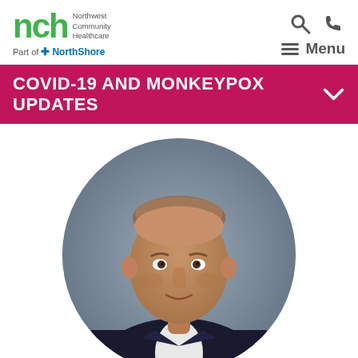[Figure (logo): NCH Northwest Community Healthcare logo with 'Part of NorthShore' tagline]
Menu
COVID-19 AND MONKEYPOX UPDATES
[Figure (photo): Circular headshot portrait of a middle-aged man in a suit, smiling, with short hair, against a grey background]